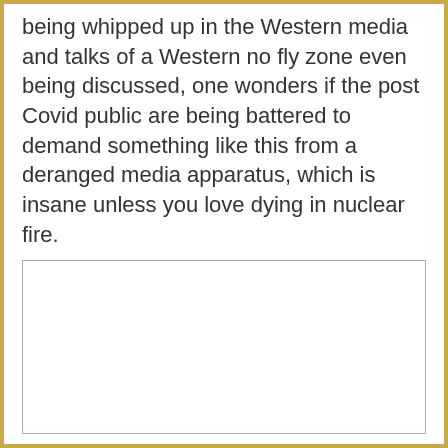being whipped up in the Western media and talks of a Western no fly zone even being discussed, one wonders if the post Covid public are being battered to demand something like this from a deranged media apparatus, which is insane unless you love dying in nuclear fire.
[Figure (other): Empty white rectangular box with a thin border, appearing to be a placeholder for an image or media content.]